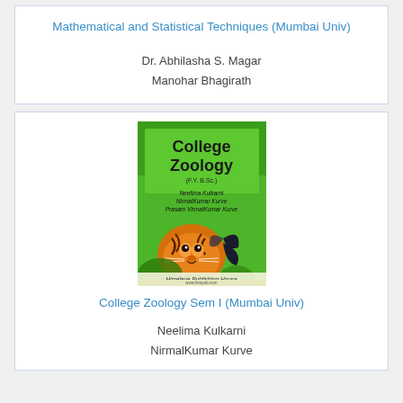Mathematical and Statistical Techniques (Mumbai Univ)
Dr. Abhilasha S. Magar
Manohar Bhagirath
[Figure (photo): Book cover of College Zoology showing a tiger and butterfly on a green background, published by Himalaya Publishing House]
College Zoology Sem I (Mumbai Univ)
Neelima Kulkarni
NirmalKumar Kurve